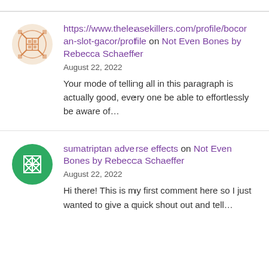[Figure (logo): Orange mosaic/geometric pattern avatar icon]
https://www.theleasekillers.com/profile/bocoran-slot-gacor/profile on Not Even Bones by Rebecca Schaeffer
August 22, 2022
Your mode of telling all in this paragraph is actually good, every one be able to effortlessly be aware of...
[Figure (logo): Green geometric/diamond pattern avatar icon]
sumatriptan adverse effects on Not Even Bones by Rebecca Schaeffer
August 22, 2022
Hi there! This is my first comment here so I just wanted to give a quick shout out and tell...